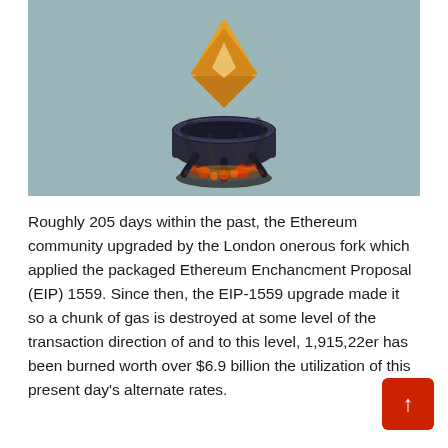[Figure (illustration): 3D rendered illustration of the Ethereum diamond logo in gold/orange color floating above a dark cauldron with glowing embers and fire beneath it, set against a muted teal-gray background]
Roughly 205 days within the past, the Ethereum community upgraded by the London onerous fork which applied the packaged Ethereum Enchancment Proposal (EIP) 1559. Since then, the EIP-1559 upgrade made it so a chunk of gas is destroyed at some level of the transaction direction of and to this level, 1,915,22er has been burned worth over $6.9 billion the utilization of this present day's alternate rates.